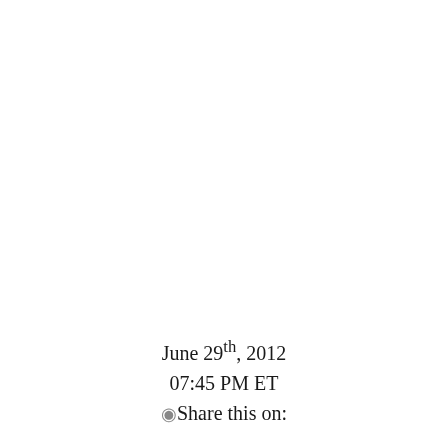June 29th, 2012
07:45 PM ET
ⓘShare this on: